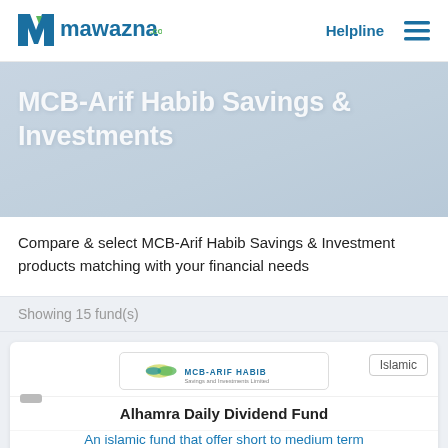[Figure (logo): Mawazna.com logo with blue and green M icon]
Helpline
MCB-Arif Habib Savings & Investments
Compare & select MCB-Arif Habib Savings & Investment products matching with your financial needs
Showing 15 fund(s)
[Figure (logo): MCB-Arif Habib Savings and Investments Limited logo]
Islamic
Alhamra Daily Dividend Fund
An islamic fund that offer short to medium term